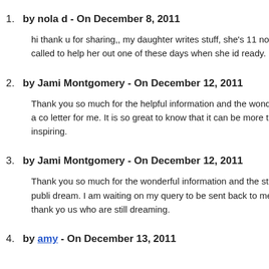by nola d - On December 8, 2011
hi thank u for sharing,, my daughter writes stuff, she's 11 now b story's and it will be great, i had no idea there was a thing called to help her out one of these days when she id ready.
by Jami Montgomery - On December 12, 2011
Thank you so much for the helpful information and the wonderfu book this spring, and I am currently waiting on replies from a co letter for me. It is so great to know that it can be more than a dre experience. Your story was a great one, and it is very inspiring.
by Jami Montgomery - On December 12, 2011
Thank you so much for the wonderful information and the story! the spring, and it's great to see that someone with no prior publi dream. I am waiting on my query to be sent back to me from an expert insight on a query was a great way to go. Again, thank yo us who are still dreaming.
by amy - On December 13, 2011